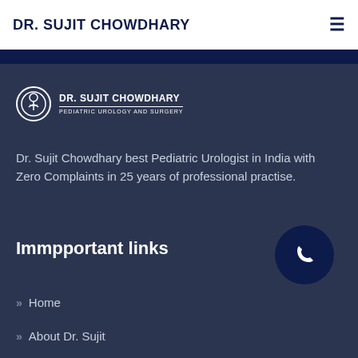DR. SUJIT CHOWDHARY
[Figure (logo): Dr. Sujit Chowdhary Pediatric Urology and Surgery logo with circular emblem]
Dr. Sujit Chowdhary best Pediatric Urologist in India with Zero Complaints in 25 years of professional practise.
Immpportant links
Home
About Dr. Sujit